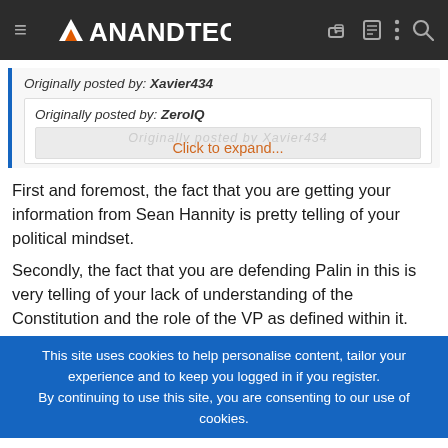AnandTech
Originally posted by: Xavier434
Originally posted by: ZeroIQ
Click to expand...
First and foremost, the fact that you are getting your information from Sean Hannity is pretty telling of your political mindset.
Secondly, the fact that you are defending Palin in this is very telling of your lack of understanding of the Constitution and the role of the VP as defined within it.
This site uses cookies to help personalise content, tailor your experience and to keep you logged in if you register.
By continuing to use this site, you are consenting to our use of cookies.
NEXT